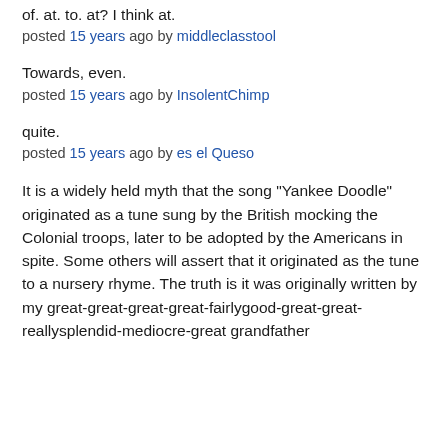of. at. to. at? I think at.
posted 15 years ago by middleclasstool
Towards, even.
posted 15 years ago by InsolentChimp
quite.
posted 15 years ago by es el Queso
It is a widely held myth that the song "Yankee Doodle" originated as a tune sung by the British mocking the Colonial troops, later to be adopted by the Americans in spite. Some others will assert that it originated as the tune to a nursery rhyme. The truth is it was originally written by my great-great-great-great-fairlygood-great-great-reallysplendid-mediocre-great grandfather